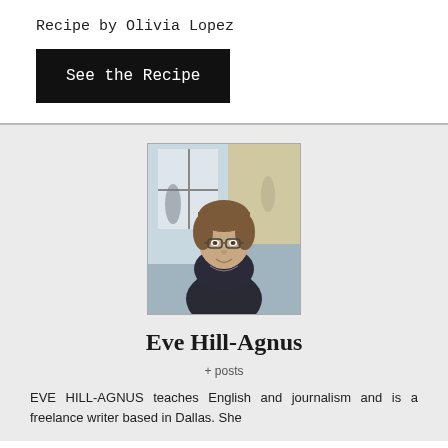Recipe by Olivia Lopez
See the Recipe
[Figure (photo): Portrait photo of Eve Hill-Agnus, a woman with short hair and glasses, seated in what appears to be a cafe or restaurant setting.]
Eve Hill-Agnus
+ posts
EVE HILL-AGNUS teaches English and journalism and is a freelance writer based in Dallas. She